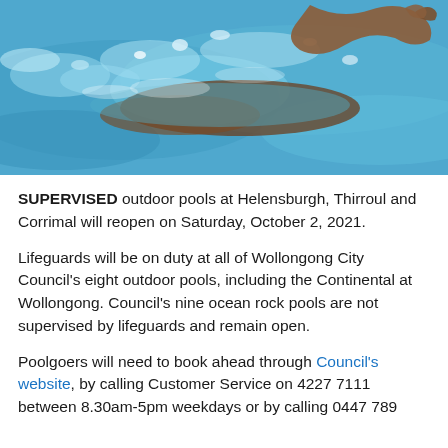[Figure (photo): A swimmer doing the freestyle/crawl stroke in an outdoor pool or open water, with blue water and splashes visible.]
SUPERVISED outdoor pools at Helensburgh, Thirroul and Corrimal will reopen on Saturday, October 2, 2021.
Lifeguards will be on duty at all of Wollongong City Council's eight outdoor pools, including the Continental at Wollongong. Council's nine ocean rock pools are not supervised by lifeguards and remain open.
Poolgoers will need to book ahead through Council's website, by calling Customer Service on 4227 7111 between 8.30am-5pm weekdays or by calling 0447 789